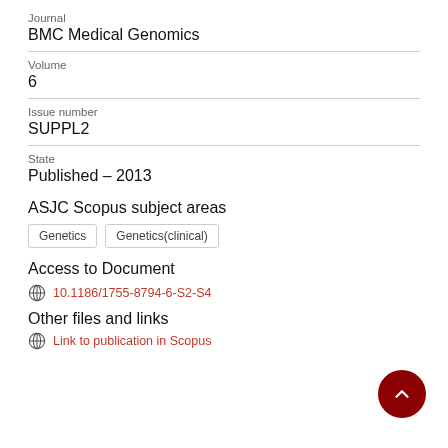Journal
BMC Medical Genomics
Volume
6
Issue number
SUPPL2
State
Published – 2013
ASJC Scopus subject areas
Genetics
Genetics(clinical)
Access to Document
10.1186/1755-8794-6-S2-S4
Other files and links
Link to publication in Scopus